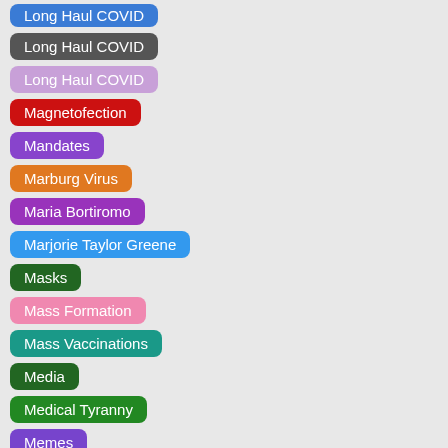Long Haul COVID
Long Haul COVID
Magnetofection
Mandates
Marburg Virus
Maria Bortiromo
Marjorie Taylor Greene
Masks
Mass Formation
Mass Vaccinations
Media
Medical Tyranny
Memes
Menstrual Irregularities
MFA Articles
microplastics
Mike Adams